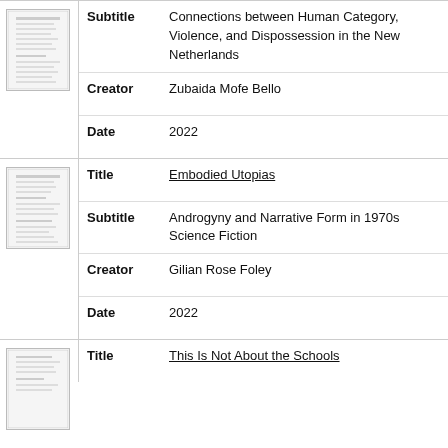| Field | Value |
| --- | --- |
| Subtitle | Connections between Human Category, Violence, and Dispossession in the New Netherlands |
| Creator | Zubaida Mofe Bello |
| Date | 2022 |
| Field | Value |
| --- | --- |
| Title | Embodied Utopias |
| Subtitle | Androgyny and Narrative Form in 1970s Science Fiction |
| Creator | Gilian Rose Foley |
| Date | 2022 |
| Field | Value |
| --- | --- |
| Title | This Is Not About the Schools |